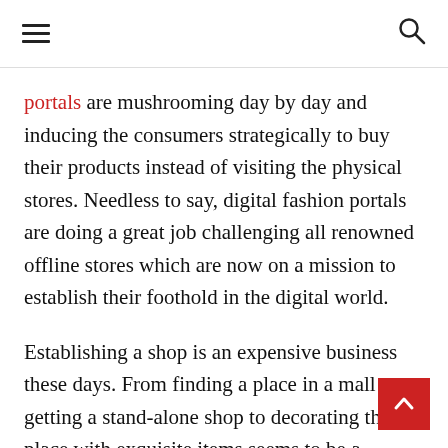≡  🔍
portals are mushrooming day by day and inducing the consumers strategically to buy their products instead of visiting the physical stores. Needless to say, digital fashion portals are doing a great job challenging all renowned offline stores which are now on a mission to establish their foothold in the digital world.
Establishing a shop is an expensive business these days. From finding a place in a mall or getting a stand-alone shop to decorating the place with exquisite items seems to be a mammoth task. On the other hand, setting online store is more like a technical journey. Managing orders and delivery along with maintaining the warehouse is not a mere joke. Equal challenge and pressure are there for marketing the brands.